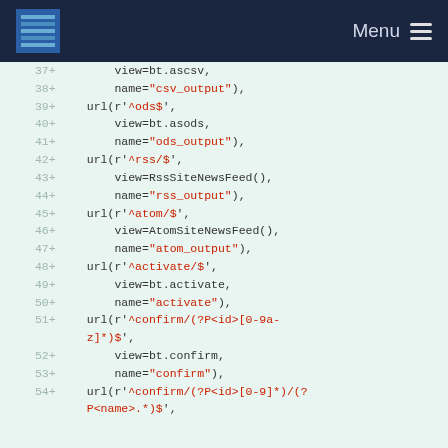Menu
[Figure (screenshot): Code diff showing URL patterns for Django views including csv_output, ods_output, rss_output, atom_output, activate, and confirm URL routes, lines 37-54]